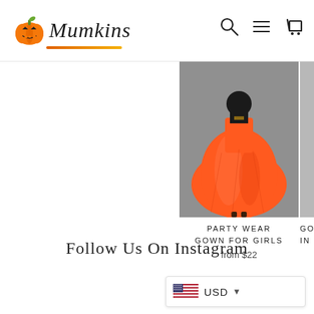Mumkins — navigation header with logo, search, menu, and cart icons
[Figure (photo): Orange satin party wear gown for girls displayed on a mannequin against a gray background]
PARTY WEAR GOWN FOR GIRLS
from $22
[Figure (photo): Partially visible second gown product image cropped at right edge]
GOW... IN P...
Follow Us On Instagram
USD currency selector with US flag and dropdown arrow